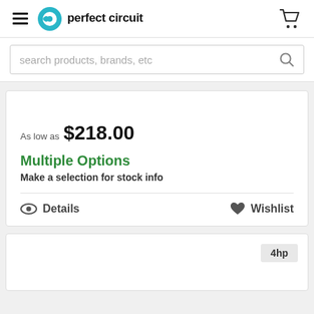perfect circuit
search products, brands, etc
As low as $218.00
Multiple Options
Make a selection for stock info
Details  Wishlist
4hp